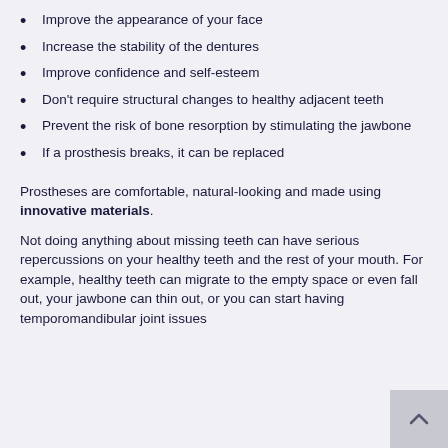Improve the appearance of your face
Increase the stability of the dentures
Improve confidence and self-esteem
Don't require structural changes to healthy adjacent teeth
Prevent the risk of bone resorption by stimulating the jawbone
If a prosthesis breaks, it can be replaced
Prostheses are comfortable, natural-looking and made using innovative materials.
Not doing anything about missing teeth can have serious repercussions on your healthy teeth and the rest of your mouth. For example, healthy teeth can migrate to the empty space or even fall out, your jawbone can thin out, or you can start having temporomandibular joint issues